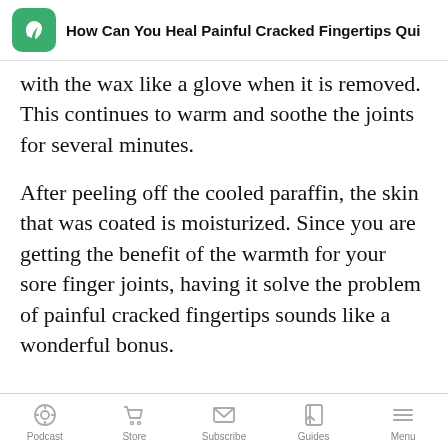How Can You Heal Painful Cracked Fingertips Qui...
with the wax like a glove when it is removed. This continues to warm and soothe the joints for several minutes.
After peeling off the cooled paraffin, the skin that was coated is moisturized. Since you are getting the benefit of the warmth for your sore finger joints, having it solve the problem of painful cracked fingertips sounds like a wonderful bonus.
Podcast | Store | Subscribe | Guides | Menu